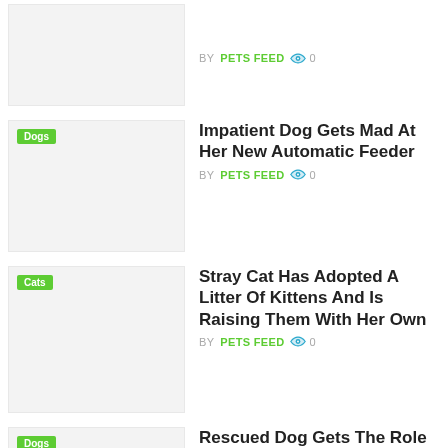[Figure (photo): Thumbnail image placeholder (light gray) with no category tag visible]
BY PETS FEED 0
[Figure (photo): Thumbnail image placeholder with Dogs tag]
Impatient Dog Gets Mad At Her New Automatic Feeder
BY PETS FEED 0
[Figure (photo): Thumbnail image placeholder with Cats tag]
Stray Cat Has Adopted A Litter Of Kittens And Is Raising Them With Her Own
BY PETS FEED 0
[Figure (photo): Thumbnail image placeholder with Dogs tag]
Rescued Dog Gets The Role Of Her Life In A Blockbuster Movie
BY PETS FEED 0